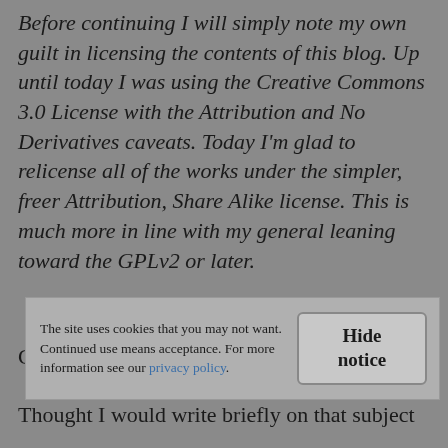Before continuing I will simply note my own guilt in licensing the contents of this blog. Up until today I was using the Creative Commons 3.0 License with the Attribution and No Derivatives caveats. Today I'm glad to relicense all of the works under the simpler, freer Attribution, Share Alike license. This is much more in line with my general leaning toward the GPLv2 or later.
Came across some ongoing debate regarding
The site uses cookies that you may not want. Continued use means acceptance. For more information see our privacy policy.
Hide notice
Thought I would write briefly on that subject